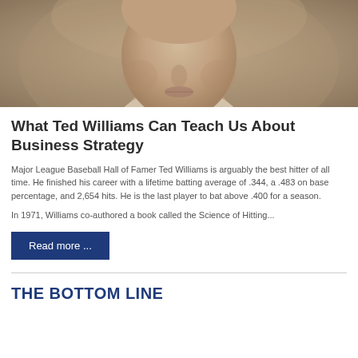[Figure (photo): Sepia-toned close-up photograph of a young man's face, cropped from nose up, showing a classic vintage baseball portrait style.]
What Ted Williams Can Teach Us About Business Strategy
Major League Baseball Hall of Famer Ted Williams is arguably the best hitter of all time. He finished his career with a lifetime batting average of .344, a .483 on base percentage, and 2,654 hits. He is the last player to bat above .400 for a season.
In 1971, Williams co-authored a book called the Science of Hitting...
Read more ...
THE BOTTOM LINE